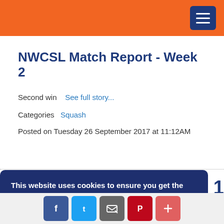NWCSL website header with orange bar and hamburger menu
NWCSL Match Report - Week 2
Second win   See full story...
Categories   Squash
Posted on Tuesday 26 September 2017 at 11:12AM
This website uses cookies to ensure you get the best experience on our website. Learn more
Got it!
k 1
ry...